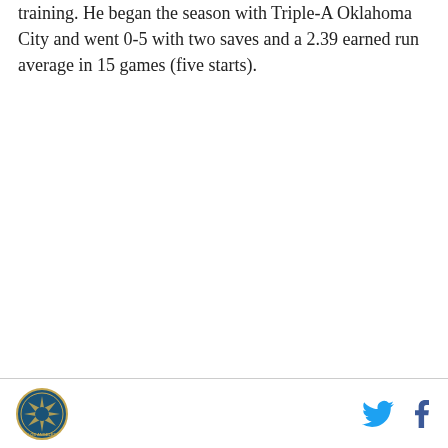training. He began the season with Triple-A Oklahoma City and went 0-5 with two saves and a 2.39 earned run average in 15 games (five starts).
Los Angeles [logo] | Twitter | Facebook